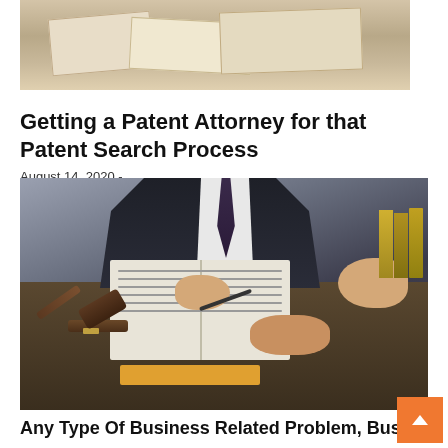[Figure (photo): Old documents and papers scattered on a desk, top portion of a legal blog post image]
Getting a Patent Attorney for that Patent Search Process
August 14, 2020  -
[Figure (photo): Attorney in dark suit sitting at a desk with an open book, gavel, and pen, meeting with a client whose hands are clasped on the table. Law books visible in the background.]
Any Type Of Business Related Problem, Business